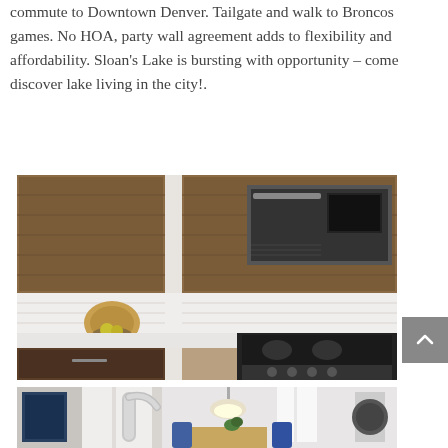commute to Downtown Denver. Tailgate and walk to Broncos games. No HOA, party wall agreement adds to flexibility and affordability. Sloan's Lake is bursting with opportunity – come discover lake living in the city!.
[Figure (photo): Interior kitchen photo showing dark wood cabinets, white tile backsplash, stainless steel over-the-range microwave, and black stainless gas range/stove with knobs visible.]
[Figure (photo): Interior photo showing a modern chrome pull-down kitchen faucet in foreground, with open living/dining area visible in background featuring pendant light and natural light from windows.]